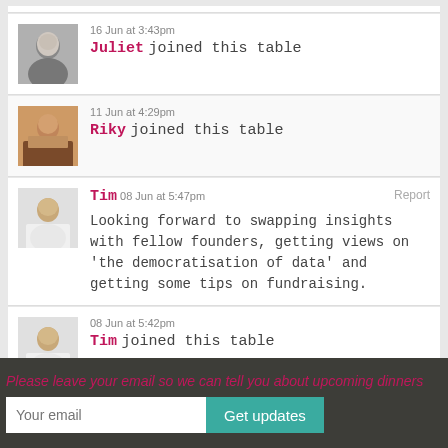16 Jun at 3:43pm — Juliet joined this table
11 Jun at 4:29pm — Riky joined this table
Tim 08 Jun at 5:47pm — Looking forward to swapping insights with fellow founders, getting views on 'the democratisation of data' and getting some tips on fundraising.
08 Jun at 5:42pm — Tim joined this table
Please leave your email so we can tell you about upcoming dinners